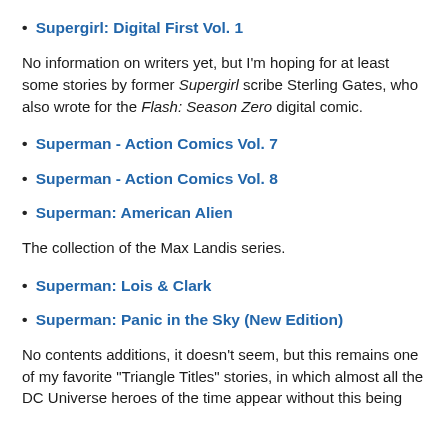Supergirl: Digital First Vol. 1
No information on writers yet, but I'm hoping for at least some stories by former Supergirl scribe Sterling Gates, who also wrote for the Flash: Season Zero digital comic.
Superman - Action Comics Vol. 7
Superman - Action Comics Vol. 8
Superman: American Alien
The collection of the Max Landis series.
Superman: Lois & Clark
Superman: Panic in the Sky (New Edition)
No contents additions, it doesn't seem, but this remains one of my favorite "Triangle Titles" stories, in which almost all the DC Universe heroes of the time appear without this being